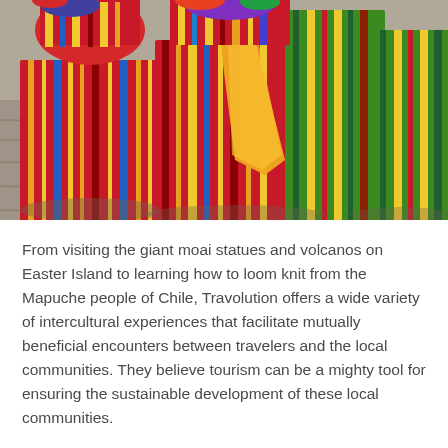[Figure (photo): Colorful traditional festival costumes worn by performers on a stone-paved street. The photograph shows close-up view of people in vibrant striped and patterned clothing in red, green, yellow, and other bright colors, typical of Latin American cultural festival attire.]
From visiting the giant moai statues and volcanos on Easter Island to learning how to loom knit from the Mapuche people of Chile, Travolution offers a wide variety of intercultural experiences that facilitate mutually beneficial encounters between travelers and the local communities. They believe tourism can be a mighty tool for ensuring the sustainable development of these local communities.